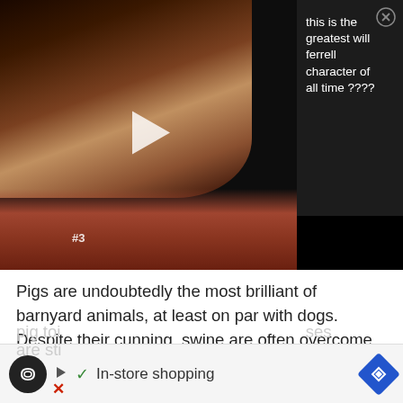[Figure (screenshot): Video thumbnail showing a darkened film scene with a person's face and a reddish-brown bottom half, with a white play button triangle overlay. To the right is a dark panel with video title text and a close button.]
this is the greatest will ferrell character of all time ????
Pigs are undoubtedly the most brilliant of barnyard animals, at least on par with dogs. Despite their cunning, swine are often overcome with an extreme hunger, and they will devour anything even vaguely edible—from garbage to the flesh of fellow hogs and even human feces.
The Goa pig toilet is a rural outhouse over a pit that runs into a pig enclosure. The pigs gratefully accept whatever drops into their trough. What it lacks in hygiene, it makes up for in efficiency. Modern plumbing is slowly making the pig toi... ...ses are sti...
[Figure (screenshot): Ad bar at bottom: circular dark icon with infinity-like symbol, small play arrow, blue checkmark, 'In-store shopping' text, blue diamond navigation icon, red X button]